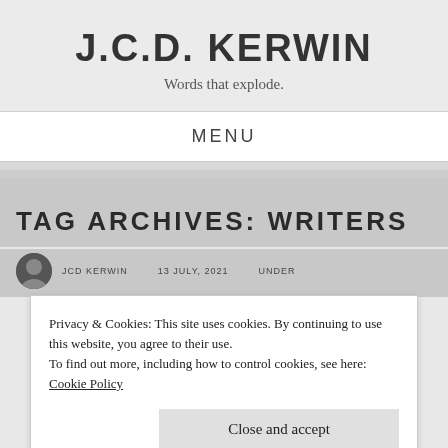J.C.D. KERWIN
Words that explode.
MENU
TAG ARCHIVES: WRITERS
Privacy & Cookies: This site uses cookies. By continuing to use this website, you agree to their use.
To find out more, including how to control cookies, see here: Cookie Policy
Close and accept
JCD KERWIN   13 JULY, 2021   UNDER